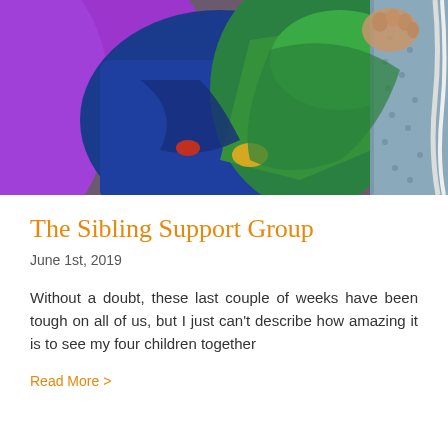[Figure (photo): Close-up photo of children together, wearing colorful clothing including purple, blue, green garments with a newborn baby's hand visible. A patterned blue-grey fabric is visible on the right side.]
The Sibling Support Group
June 1st, 2019
Without a doubt, these last couple of weeks have been tough on all of us, but I just can't describe how amazing it is to see my four children together
Read More >